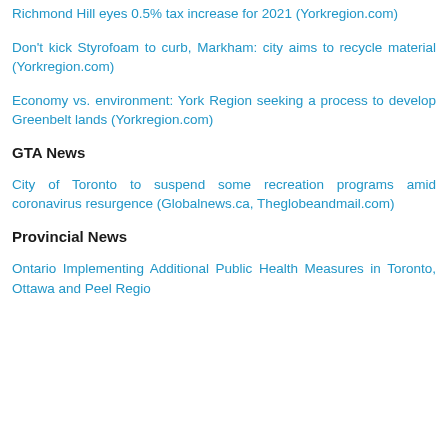Richmond Hill eyes 0.5% tax increase for 2021 (Yorkregion.com)
Don't kick Styrofoam to curb, Markham: city aims to recycle material (Yorkregion.com)
Economy vs. environment: York Region seeking a process to develop Greenbelt lands (Yorkregion.com)
GTA News
City of Toronto to suspend some recreation programs amid coronavirus resurgence (Globalnews.ca, Theglobeandmail.com)
Provincial News
Ontario Implementing Additional Public Health Measures in Toronto, Ottawa and Peel Region